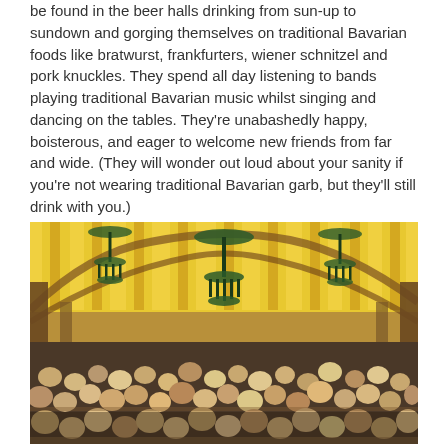be found in the beer halls drinking from sun-up to sundown and gorging themselves on traditional Bavarian foods like bratwurst, frankfurters, wiener schnitzel and pork knuckles. They spend all day listening to bands playing traditional Bavarian music whilst singing and dancing on the tables. They're unabashedly happy, boisterous, and eager to welcome new friends from far and wide. (They will wonder out loud about your sanity if you're not wearing traditional Bavarian garb, but they'll still drink with you.)
[Figure (photo): Interior of a large Oktoberfest beer hall tent with yellow-striped roof, decorative hanging chandeliers with green and white stripes, arched wooden structure, and a massive crowd of people seated at long tables.]